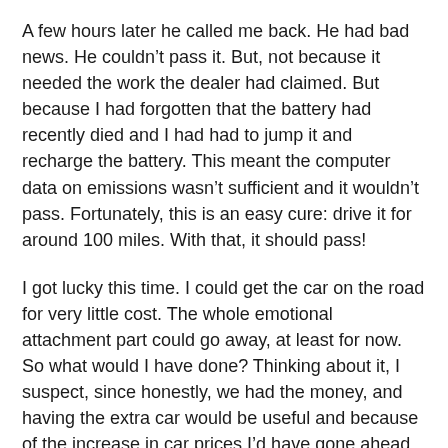A few hours later he called me back. He had bad news. He couldn’t pass it. But, not because it needed the work the dealer had claimed. But because I had forgotten that the battery had recently died and I had had to jump it and recharge the battery. This meant the computer data on emissions wasn’t sufficient and it wouldn’t pass. Fortunately, this is an easy cure: drive it for around 100 miles. With that, it should pass!
I got lucky this time. I could get the car on the road for very little cost. The whole emotional attachment part could go away, at least for now. So what would I have done? Thinking about it, I suspect, since honestly, we had the money, and having the extra car would be useful and because of the increase in car prices I’d have gone ahead with it.